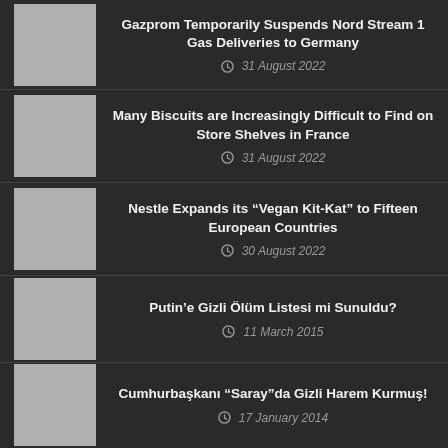Gazprom Temporarily Suspends Nord Stream 1 Gas Deliveries to Germany
31 August 2022
Many Biscuits are Increasingly Difficult to Find on Store Shelves in France
31 August 2022
Nestle Expands its “Vegan Kit-Kat” to Fifteen European Countries
30 August 2022
Putin’e Gizli Ölüm Listesi mi Sunuldu?
11 March 2015
Cumhurbaşkanı “Saray”da Gizli Harem Kurmuş!
17 January 2014